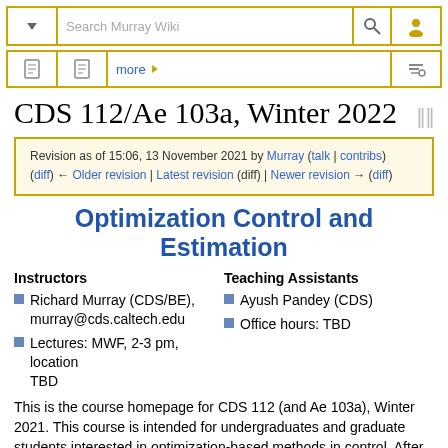Search Murray Wiki
CDS 112/Ae 103a, Winter 2022
Revision as of 15:06, 13 November 2021 by Murray (talk | contribs)
(diff) ← Older revision | Latest revision (diff) | Newer revision → (diff)
Optimization Control and Estimation
Instructors
Richard Murray (CDS/BE), murray@cds.caltech.edu
Lectures: MWF, 2-3 pm, location TBD
Teaching Assistants
Ayush Pandey (CDS)
Office hours: TBD
This is the course homepage for CDS 112 (and Ae 103a), Winter 2021. This course is intended for undergraduates and graduate students interested in optimization-based methods in control. After completion of the course, students will understand the key principles of state-space based controller design, including optimal estimation and control techniques.